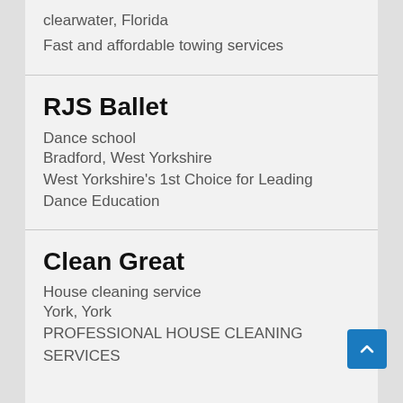clearwater, Florida
Fast and affordable towing services
RJS Ballet
Dance school
Bradford, West Yorkshire
West Yorkshire's 1st Choice for Leading Dance Education
Clean Great
House cleaning service
York, York
PROFESSIONAL HOUSE CLEANING SERVICES